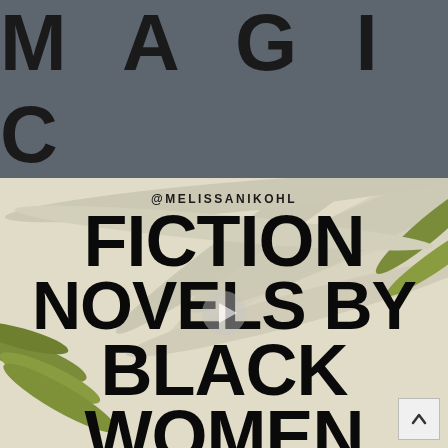[Figure (illustration): Dark gray banner background with the word MAGIC in large bold black letters with wide letter spacing]
[Figure (photo): Background photo of palm leaves in soft cream/beige tones, with overlaid text '@MELISSANIKOHL' and large bold text 'FICTION NOVELS BY BLACK WOMEN', and a video play button in the center]